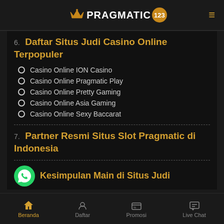PRAGMATIC 123
6. Daftar Situs Judi Casino Online Terpopuler
Casino Online ION Casino
Casino Online Pragmatic Play
Casino Online Pretty Gaming
Casino Online Asia Gaming
Casino Online Sexy Baccarat
7. Partner Resmi Situs Slot Pragmatic di Indonesia
8. Kesimpulan Main di Situs Judi
Beranda | Daftar | Promosi | Live Chat